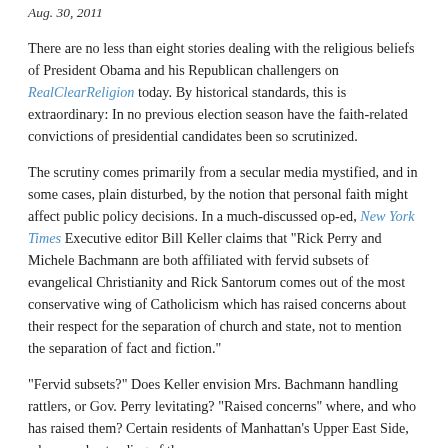Aug. 30, 2011
There are no less than eight stories dealing with the religious beliefs of President Obama and his Republican challengers on RealClearReligion today. By historical standards, this is extraordinary: In no previous election season have the faith-related convictions of presidential candidates been so scrutinized.
The scrutiny comes primarily from a secular media mystified, and in some cases, plain disturbed, by the notion that personal faith might affect public policy decisions. In a much-discussed op-ed, New York Times Executive editor Bill Keller claims that "Rick Perry and Michele Bachmann are both affiliated with fervid subsets of evangelical Christianity and Rick Santorum comes out of the most conservative wing of Catholicism which has raised concerns about their respect for the separation of church and state, not to mention the separation of fact and fiction."
"Fervid subsets?" Does Keller envision Mrs. Bachmann handling rattlers, or Gov. Perry levitating? "Raised concerns" where, and who has raised them? Certain residents of Manhattan's Upper East Side, whose understanding of the